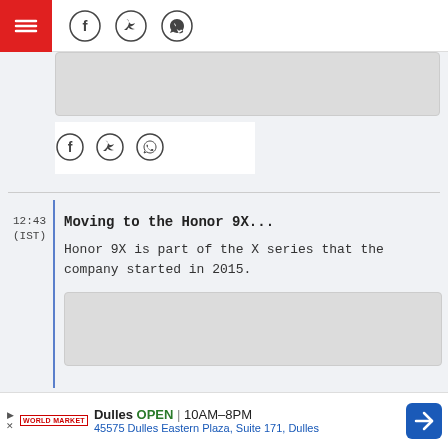Social share icons header bar with Facebook, Twitter, WhatsApp
[Figure (screenshot): Gray image placeholder (upper section)]
[Figure (infographic): Social share icons: Facebook, Twitter, WhatsApp circles]
Moving to the Honor 9X...
Honor 9X is part of the X series that the company started in 2015.
[Figure (screenshot): Gray image placeholder (lower section)]
Dulles OPEN | 10AM–8PM 45575 Dulles Eastern Plaza, Suite 171, Dulles